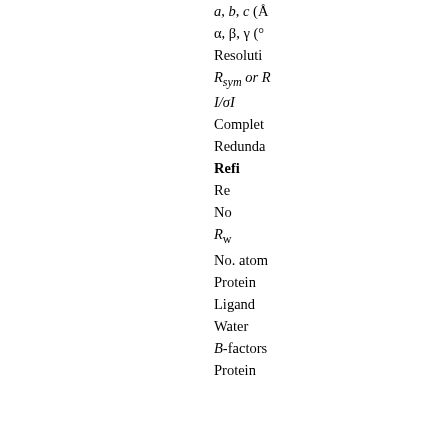| Parameter | Value |
| --- | --- |
| a, b, c (Å) |  |
| α, β, γ (°) |  |
| Resolution (Å) |  |
| Rsym or Rmerge |  |
| I/σI |  |
| Completeness (%) |  |
| Redundancy |  |
| Refinement |  |
| Resolution (Å) |  |
| No. reflections |  |
| Rwork / Rfree |  |
| No. atoms |  |
| Protein |  |
| Ligand/ion |  |
| Water |  |
| B-factors (Å²) |  |
| Protein |  |